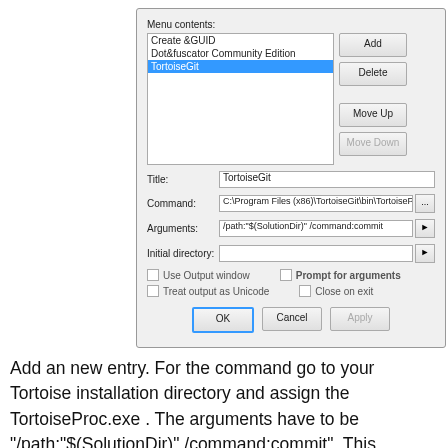[Figure (screenshot): Windows dialog box showing External Tools configuration with menu contents list (Create &GUID, Dot&fuscator Community Edition, TortoiseGit selected), fields for Title (TortoiseGit), Command (C:\Program Files (x86)\TortoiseGit\bin\TortoiseP), Arguments (/path:"$(SolutionDir)" /command:commit), Initial directory, checkboxes for Use Output window, Treat output as Unicode, Prompt for arguments, Close on exit, and buttons OK, Cancel, Apply, Add, Delete, Move Up, Move Down.]
Add an new entry. For the command go to your Tortoise installation directory and assign the TortoiseProc.exe . The arguments have to be "/path:"$(SolutionDir)" /command:commit". This